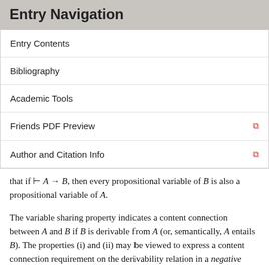Entry Navigation
Entry Contents
Bibliography
Academic Tools
Friends PDF Preview
Author and Citation Info
that if ⊢ A → B, then every propositional variable of B is also a propositional variable of A.
The variable sharing property indicates a content connection between A and B if B is derivable from A (or, semantically, A entails B). The properties (i) and (ii) may be viewed to express a content connection requirement on the derivability relation in a negative way. If one wants to express these constraints in terms of the provability of object language formulas, one naturally arrives at Aristotle's and Boethius' Theses.